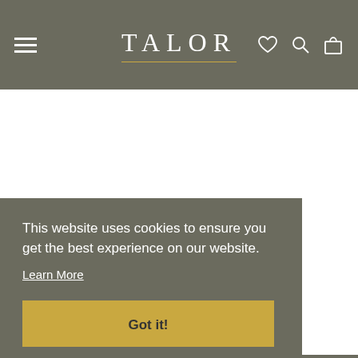TALOR
This website uses cookies to ensure you get the best experience on our website.
Learn More
Got it!